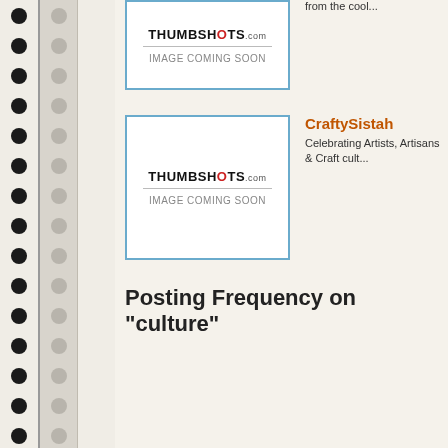[Figure (screenshot): Thumbshots.com image placeholder box (top) with blue border]
from the cool...
[Figure (screenshot): Thumbshots.com image placeholder box (bottom) with blue border]
CraftySistah
Celebrating Artists, Artisans & Craft cult...
Posting Frequency on "culture"